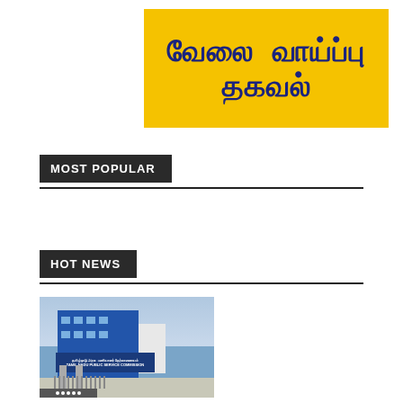[Figure (other): Yellow banner with Tamil text reading 'வேலை வாய்ப்பு தகவல்' (Job Opportunity Information) in dark blue bold font on a golden yellow background]
MOST POPULAR
HOT NEWS
[Figure (photo): Photograph of Tamil Nadu Public Service Commission (TNPSC) building exterior, showing a blue multi-story building with signboard, gate posts, and fence in the foreground]